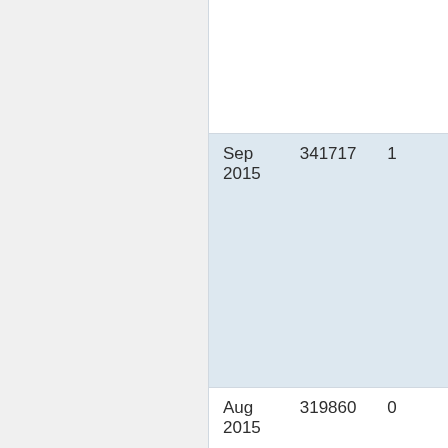| Date | Value | Count |
| --- | --- | --- |
| Sep 2015 | 341717 | 1 |
| Aug 2015 | 319860 | 0 |